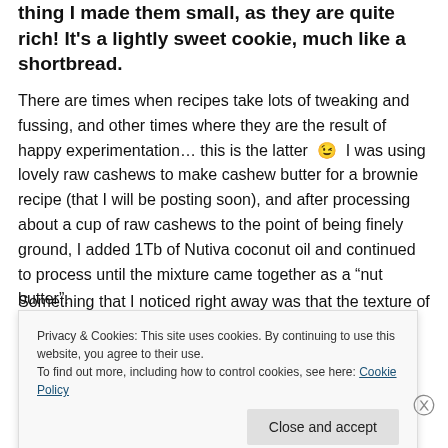thing I made them small, as they are quite rich! It's a lightly sweet cookie, much like a shortbread.
There are times when recipes take lots of tweaking and fussing, and other times where they are the result of happy experimentation… this is the latter 😉 I was using lovely raw cashews to make cashew butter for a brownie recipe (that I will be posting soon), and after processing about a cup of raw cashews to the point of being finely ground, I added 1Tb of Nutiva coconut oil and continued to process until the mixture came together as a "nut butter".
Something that I noticed right away was that the texture of
Privacy & Cookies: This site uses cookies. By continuing to use this website, you agree to their use.
To find out more, including how to control cookies, see here: Cookie Policy
Close and accept